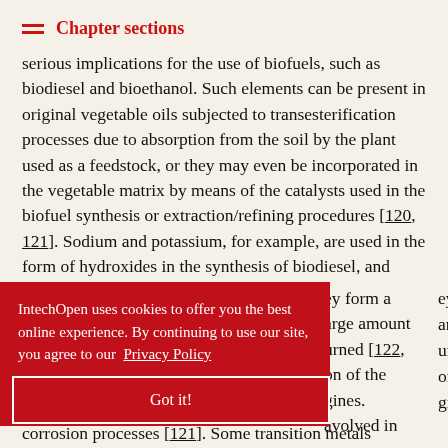Chapter sections
serious implications for the use of biofuels, such as biodiesel and bioethanol. Such elements can be present in original vegetable oils subjected to transesterification processes due to absorption from the soil by the plant used as a feedstock, or they may even be incorporated in the vegetable matrix by means of the catalysts used in the biofuel synthesis or extraction/refining procedures [120, 121]. Sodium and potassium, for example, are used in the form of hydroxides in the synthesis of biodiesel, and they form a large amount urned [122, on of the gines. avolved in corrosion processes [121]. Some transition metals
IntechOpen uses cookies to offer you the best online experience. By continuing to use our site, you agree to our Privacy Policy
Got it!